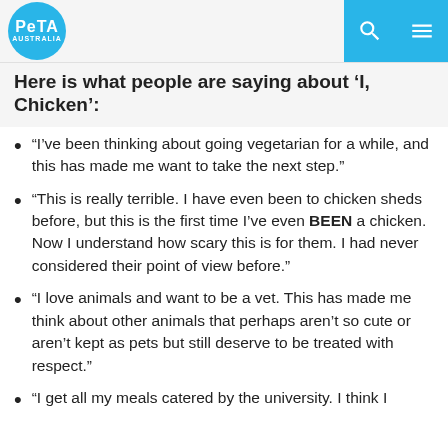PETA Australia
Here is what people are saying about 'I, Chicken':
“I’ve been thinking about going vegetarian for a while, and this has made me want to take the next step.”
“This is really terrible. I have even been to chicken sheds before, but this is the first time I’ve even BEEN a chicken. Now I understand how scary this is for them. I had never considered their point of view before.”
“I love animals and want to be a vet. This has made me think about other animals that perhaps aren’t so cute or aren’t kept as pets but still deserve to be treated with respect.”
“I get all my meals catered by the university. I think I